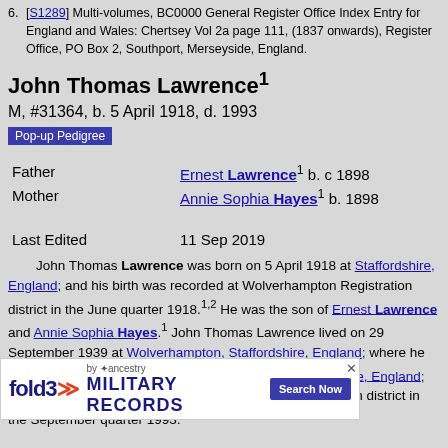6. [S1289] Multi-volumes, BC0000 General Register Office Index Entry for England and Wales: Chertsey Vol 2a page 111, (1837 onwards), Register Office, PO Box 2, Southport, Merseyside, England.
John Thomas Lawrence¹
M, #31364, b. 5 April 1918, d. 1993
Pop-up Pedigree
| Father | Ernest Lawrence¹ b. c 1898 |
| Mother | Annie Sophia Hayes¹ b. 1898 |
| Last Edited | 11 Sep 2019 |
John Thomas Lawrence was born on 5 April 1918 at Staffordshire, England; and his birth was recorded at Wolverhampton Registration district in the June quarter 1918.¹·² He was the son of Ernest Lawrence and Annie Sophia Hayes.¹ John Thomas Lawrence lived on 29 September 1939 at Wolverhampton, Staffordshire, England; where he was on the 1939 Register.³ He died in 1993 at Staffordshire, England; and his death was recorded at Wolverhampton Registration district in the September quarter 1993.²
[Figure (infographic): Fold3 Military Records advertisement banner with Search Now button]